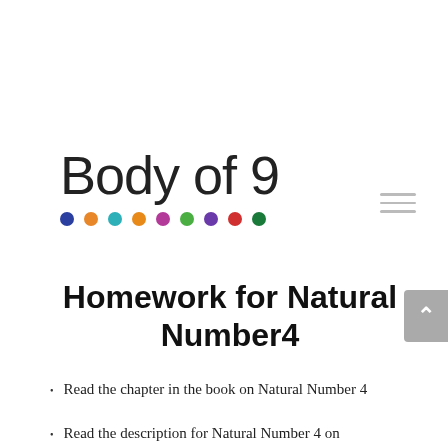[Figure (logo): Body of 9 logo with large serif/light font text 'Body of 9' and a row of 9 colored dots below (dark blue, orange, teal, orange, magenta, green, purple, red, dark green)]
Homework for Natural Number4
Read the chapter in the book on Natural Number 4
Read the description for Natural Number 4 on